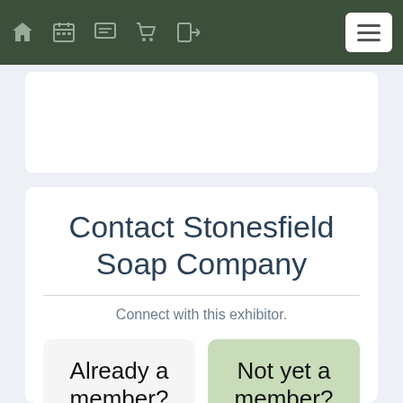Navigation bar with icons: home, calendar, chat, cart, login, and hamburger menu
Contact Stonesfield Soap Company
Connect with this exhibitor.
Already a member?
Login
Not yet a member?
Join